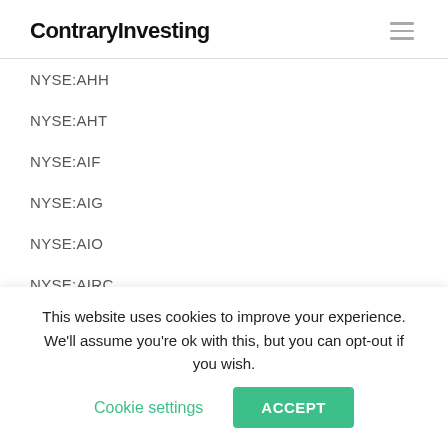ContraryInvesting
NYSE:AHH
NYSE:AHT
NYSE:AIF
NYSE:AIG
NYSE:AIO
NYSE:AIRC
NYSE:AIV
NYSE:AIZ
NYSE:AIY (partial)
This website uses cookies to improve your experience. We'll assume you're ok with this, but you can opt-out if you wish. Cookie settings ACCEPT